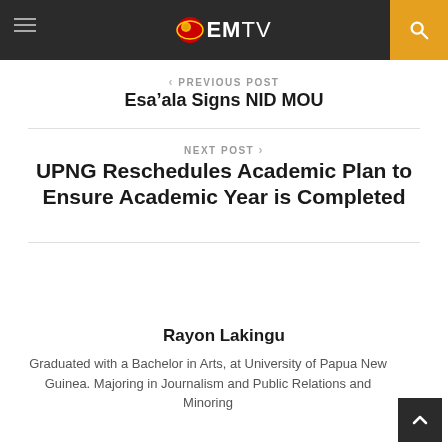EMTV
< PREVIOUS POST
Esa’ala Signs NID MOU
NEXT POST >
UPNG Reschedules Academic Plan to Ensure Academic Year is Completed
Rayon Lakingu
Graduated with a Bachelor in Arts, at University of Papua New Guinea. Majoring in Journalism and Public Relations and Minoring